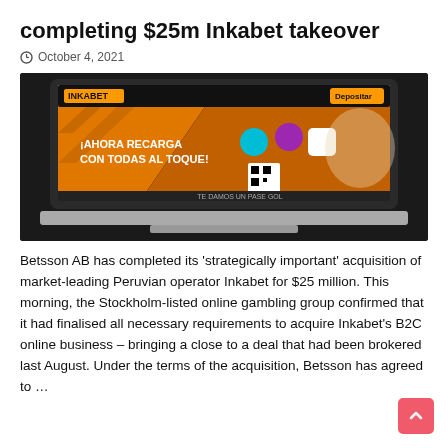completing $25m Inkabet takeover
October 4, 2021
[Figure (screenshot): Laptop screen showing Inkabet online gambling website with Spanish-language promotional banner '¡AHORA RECARGA CON TODAS AL TOQUE!' and 'Depositar' button, orange and dark theme.]
Betsson AB has completed its 'strategically important' acquisition of market-leading Peruvian operator Inkabet for $25 million.  This morning, the Stockholm-listed online gambling group confirmed that it had finalised all necessary requirements to acquire Inkabet's B2C online business – bringing a close to a deal that had been brokered last August. Under the terms of the acquisition, Betsson has agreed to …